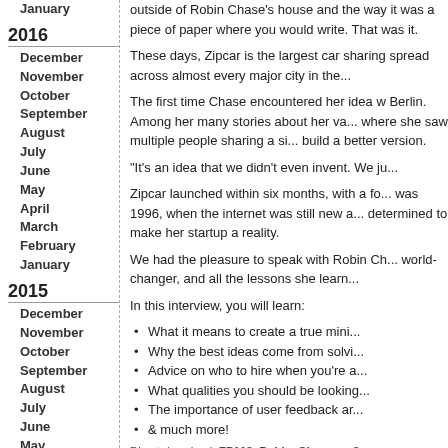January
2016
December
November
October
September
August
July
June
May
April
March
February
January
2015
December
November
October
September
August
July
June
May
April
March
February
January
2014
December
outside of Robin Chase's house and the way it was a piece of paper where you would write... That was it.
These days, Zipcar is the largest car sharing... spread across almost every major city in the...
The first time Chase encountered her idea w... Berlin. Among her many stories about her va... where she saw multiple people sharing a si... build a better version.
"It's an idea that we didn't even invent. We ju...
Zipcar launched within six months, with a fo... was 1996, when the internet was still new a... determined to make her startup a reality.
We had the pleasure to speak with Robin Ch... world-changer, and all the lessons she learn...
In this interview, you will learn:
What it means to create a true mini...
Why the best ideas come from solvi...
Advice on who to hire when you're a...
What qualities you should be looking...
The importance of user feedback ar...
& much more!
Direct download: FP113_Robin_Chase.mp3
Category:general -- posted at: 4:42am AEST
Thu, 6 October 2016
112: The Crazy Orig... Casey Fenton